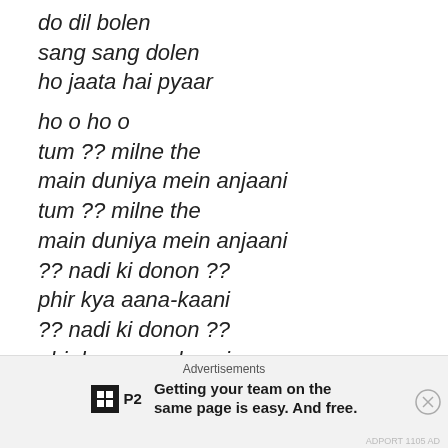do dil bolen
sang sang dolen
ho jaata hai pyaar
ho o ho o
tum ?? milne the
main duniya mein anjaani
tum ?? milne the
main duniya mein anjaani
?? nadi ki donon ??
phir kya aana-kaani
?? nadi ki donon ??
phir kya aana-kaani
hilmil jaaven
Advertisements
Getting your team on the same page is easy. And free.